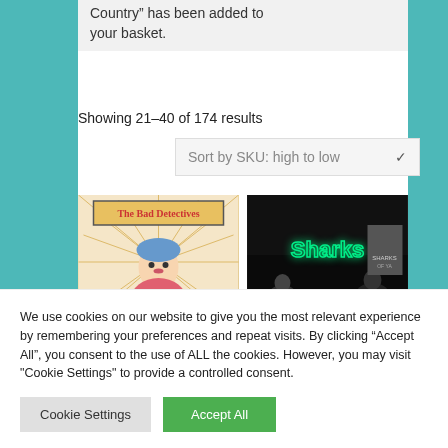Country” has been added to your basket.
Showing 21–40 of 174 results
Sort by SKU: high to low
[Figure (illustration): Comic-style illustration for The Bad Detectives album/product]
[Figure (photo): Dark photo showing The Sharks band with neon green sign]
We use cookies on our website to give you the most relevant experience by remembering your preferences and repeat visits. By clicking “Accept All”, you consent to the use of ALL the cookies. However, you may visit "Cookie Settings" to provide a controlled consent.
Cookie Settings
Accept All